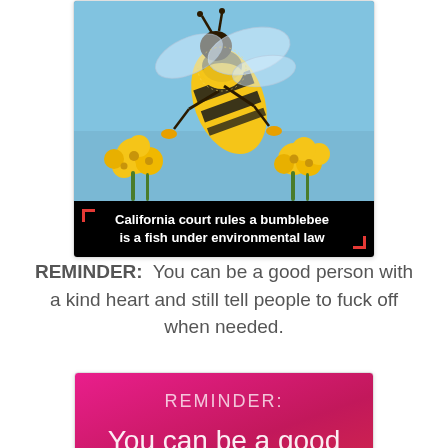[Figure (photo): News card showing a close-up photo of a bumblebee on yellow flowers with a black caption bar reading 'California court rules a bumblebee is a fish under environmental law', with red corner brackets.]
REMINDER:  You can be a good person with a kind heart and still tell people to fuck off when needed.
[Figure (infographic): Pink/magenta gradient card with white text reading 'REMINDER:' in thin lettering followed by 'You can be a good person with a kind heart and still tel...' (cropped at bottom)]